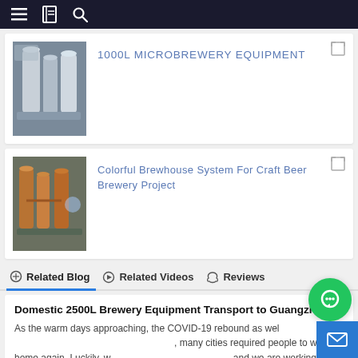Navigation bar with menu, bookmark, and search icons
[Figure (photo): Photo of 1000L microbrewery stainless steel tanks and equipment]
1000L MICROBREWERY EQUIPMENT
[Figure (photo): Photo of colorful copper brewhouse system for craft beer brewery]
Colorful Brewhouse System For Craft Beer Brewery Project
Related Blog  Related Videos  Reviews
Domestic 2500L Brewery Equipment Transport to Guangzhou
As the warm days approaching, the COVID-19 rebound as well, many cities required people to work at home again. Luckily, we and we are working regularly. One set 2500L turnkey brewe...
Precautions And Advantages Of Small Beer Brewing E...